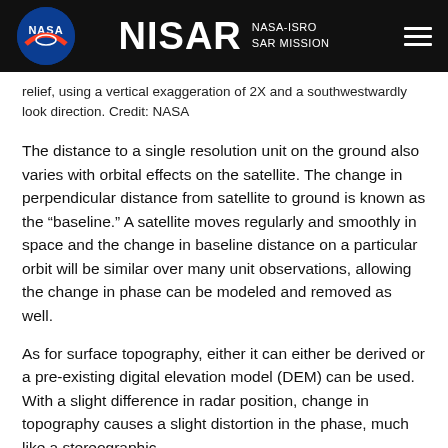NISAR NASA-ISRO SAR MISSION
relief, using a vertical exaggeration of 2X and a southwestwardly look direction. Credit: NASA
The distance to a single resolution unit on the ground also varies with orbital effects on the satellite. The change in perpendicular distance from satellite to ground is known as the “baseline.” A satellite moves regularly and smoothly in space and the change in baseline distance on a particular orbit will be similar over many unit observations, allowing the change in phase can be modeled and removed as well.
As for surface topography, either it can either be derived or a pre-existing digital elevation model (DEM) can be used. With a slight difference in radar position, change in topography causes a slight distortion in the phase, much like a stereographic